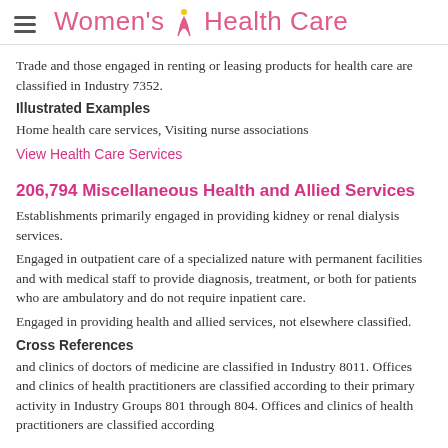Women's Health Care
Trade and those engaged in renting or leasing products for health care are classified in Industry 7352.
Illustrated Examples
Home health care services, Visiting nurse associations
View Health Care Services
206,794 Miscellaneous Health and Allied Services
Establishments primarily engaged in providing kidney or renal dialysis services.
Engaged in outpatient care of a specialized nature with permanent facilities and with medical staff to provide diagnosis, treatment, or both for patients who are ambulatory and do not require inpatient care.
Engaged in providing health and allied services, not elsewhere classified.
Cross References
and clinics of doctors of medicine are classified in Industry 8011. Offices and clinics of health practitioners are classified according to their primary activity in Industry Groups 801 through 804. Offices and clinics of health practitioners are classified according